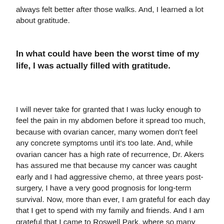always felt better after those walks. And, I learned a lot about gratitude.
In what could have been the worst time of my life, I was actually filled with gratitude.
I will never take for granted that I was lucky enough to feel the pain in my abdomen before it spread too much, because with ovarian cancer, many women don't feel any concrete symptoms until it's too late. And, while ovarian cancer has a high rate of recurrence, Dr. Akers has assured me that because my cancer was caught early and I had aggressive chemo, at three years post-surgery, I have a very good prognosis for long-term survival. Now, more than ever, I am grateful for each day that I get to spend with my family and friends. And I am grateful that I came to Roswell Park, where so many amazing people, from the